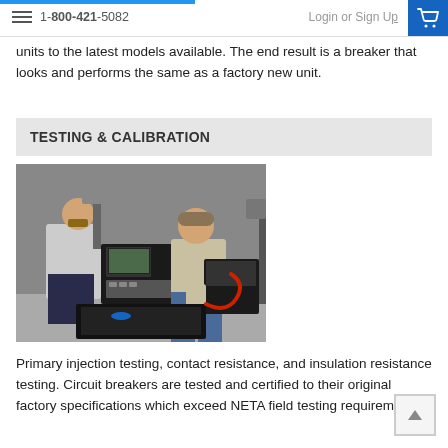1-800-421-5082  Login or Sign Up
units to the latest models available. The end result is a breaker that looks and performs the same as a factory new unit.
TESTING & CALIBRATION
[Figure (photo): Two technicians working on electrical testing equipment; one standing at a control panel with a monitor, another crouching to access lower equipment]
Primary injection testing, contact resistance, and insulation resistance testing. Circuit breakers are tested and certified to their original factory specifications which exceed NETA field testing requirements.